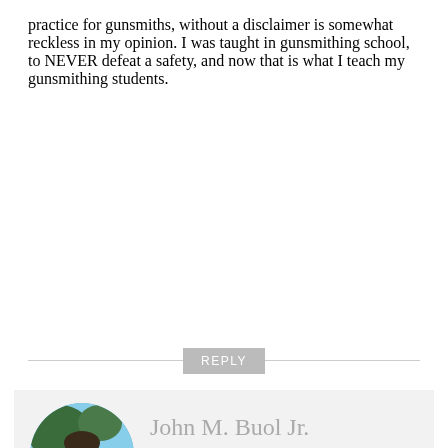practice for gunsmiths, without a disclaimer is somewhat reckless in my opinion. I was taught in gunsmithing school, to NEVER defeat a safety, and now that is what I teach my gunsmithing students.
REPLY
[Figure (photo): Circular profile photo of John M. Buol Jr., a man wearing sunglasses and a blue shirt with arms crossed, standing outdoors.]
John M. Buol Jr.
AUGUST 15, 2016 AT 12:20 PM
Disclaimer: “Doing this sort of modification will surely void any warranty on your gun and may not endear you to some future owner because the gun will no